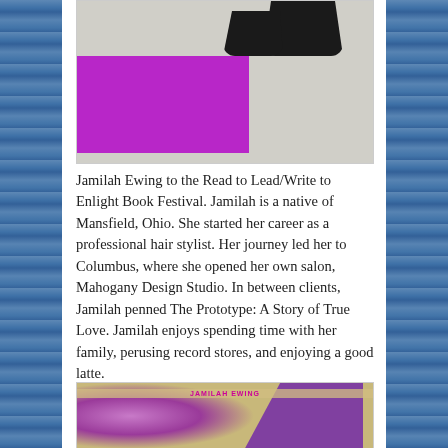[Figure (photo): Partial photo showing person's legs/feet with black heeled sandals on a grey floor with a bright purple/magenta surface visible]
Jamilah Ewing to the Read to Lead/Write to Enlight Book Festival. Jamilah is a native of Mansfield, Ohio. She started her career as a professional hair stylist. Her journey led her to Columbus, where she opened her own salon, Mahogany Design Studio. In between clients, Jamilah penned The Prototype: A Story of True Love. Jamilah enjoys spending time with her family, perusing record stores, and enjoying a good latte.
[Figure (photo): Book cover for 'The Prototype' by Jamilah Ewing, featuring purple orchid flowers and abstract purple shapes with a warm tan/gold background]